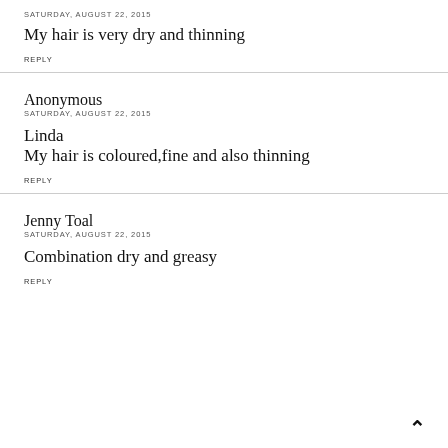SATURDAY, AUGUST 22, 2015
My hair is very dry and thinning
REPLY
Anonymous
SATURDAY, AUGUST 22, 2015
Linda
My hair is coloured,fine and also thinning
REPLY
Jenny Toal
SATURDAY, AUGUST 22, 2015
Combination dry and greasy
REPLY